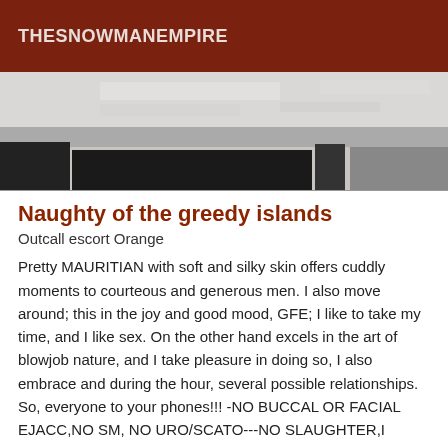THESNOWMANEMPIRE
[Figure (photo): Blurred/obscured photograph showing indistinct grey and dark shapes, possibly an interior scene]
Naughty of the greedy islands
Outcall escort Orange
Pretty MAURITIAN with soft and silky skin offers cuddly moments to courteous and generous men. I also move around; this in the joy and good mood, GFE; I like to take my time, and I like sex. On the other hand excels in the art of blowjob nature, and I take pleasure in doing so, I also embrace and during the hour, several possible relationships. So, everyone to your phones!!! -NO BUCCAL OR FACIAL EJACC,NO SM, NO URO/SCATO---NO SLAUGHTER,I PRIVILEGE QUALITY AS QUANTITY -- I DO NOT ANSWER ¨PAS TO MASK